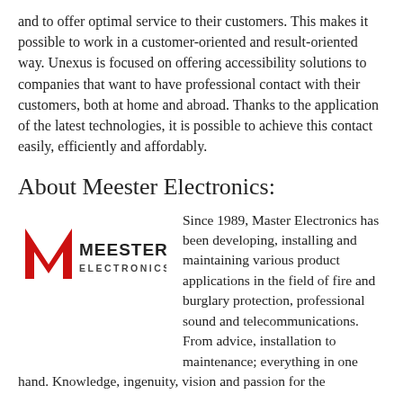and to offer optimal service to their customers. This makes it possible to work in a customer-oriented and result-oriented way. Unexus is focused on offering accessibility solutions to companies that want to have professional contact with their customers, both at home and abroad. Thanks to the application of the latest technologies, it is possible to achieve this contact easily, efficiently and affordably.
About Meester Electronics:
[Figure (logo): Meester Electronics logo with a red stylized M chevron and text MEESTER ELECTRONICS]
Since 1989, Master Electronics has been developing, installing and maintaining various product applications in the field of fire and burglary protection, professional sound and telecommunications. From advice, installation to maintenance; everything in one hand. Knowledge, ingenuity, vision and passion for the